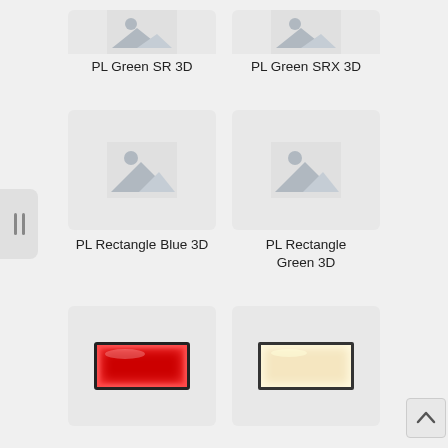[Figure (screenshot): Partial top of placeholder image thumbnail for PL Green SR 3D]
PL Green SR 3D
[Figure (screenshot): Partial top of placeholder image thumbnail for PL Green SRX 3D]
PL Green SRX 3D
[Figure (screenshot): Placeholder image thumbnail for PL Rectangle Blue 3D]
PL Rectangle Blue 3D
[Figure (screenshot): Placeholder image thumbnail for PL Rectangle Green 3D]
PL Rectangle Green 3D
[Figure (photo): Red illuminated rectangular indicator lamp]
[Figure (photo): Beige/white illuminated rectangular indicator lamp]